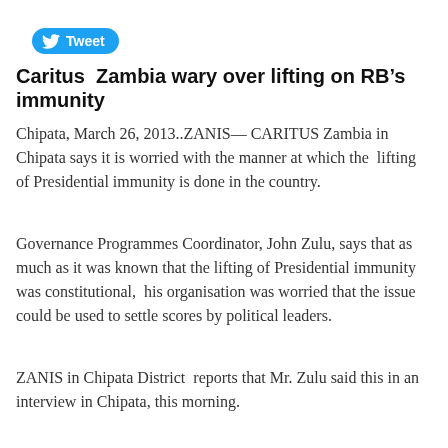[Figure (other): Twitter Tweet button with bird icon]
Caritus  Zambia wary over lifting on RB’s immunity
Chipata, March 26, 2013..ZANIS— CARITUS Zambia in Chipata says it is worried with the manner at which the  lifting of Presidential immunity is done in the country.
Governance Programmes Coordinator, John Zulu, says that as much as it was known that the lifting of Presidential immunity was constitutional,  his organisation was worried that the issue could be used to settle scores by political leaders.
ZANIS in Chipata District  reports that Mr. Zulu said this in an interview in Chipata, this morning.